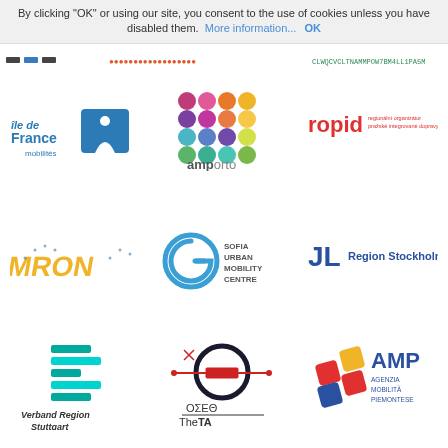By clicking “OK” or using our site, you consent to the use of cookies unless you have disabled them. More information... OK
[Figure (logo): Partial top strip with logos/text]
[Figure (logo): Île-de-France Mobilités logo]
[Figure (logo): AMP Porto logo - colorful circles grid]
[Figure (logo): ROPID - regionální organizátor pražské integrované dopravy]
[Figure (logo): MRON logo]
[Figure (logo): Sofia Urban Mobility Centre logo]
[Figure (logo): Region Stockholm logo]
[Figure (logo): Verband Region Stuttgart logo]
[Figure (logo): ΟΣΕΘ TheTA logo]
[Figure (logo): AMP Agenzia Mobilità Piemontese logo]